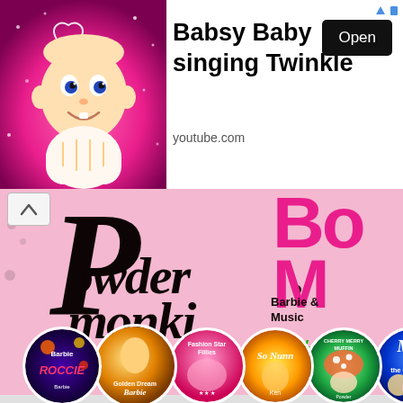[Figure (screenshot): Ad banner: animated baby (Babsy Baby) on pink background. Text: 'Babsy Baby singing Twinkle', 'youtube.com', 'Open' button. Arrow icons top right.]
[Figure (screenshot): Website screenshot of 'Powder Monki' channel page. Pink background with large gothic/brush-style 'Powder Monki' text in black. Right side shows partial pink/green logo text 'Bo' and 'Barbie' and 'Music' and 'www'. Bottom row of 7 circular badge/button images showing various Barbie-related album/video covers: 'Barbie Roccie', 'Golden Dream Barbie', 'Fashion Star Fillies', 'Ken', 'Cherry Merry Muffin', 'Mim and the Goo Goos', and another Barbie image.]